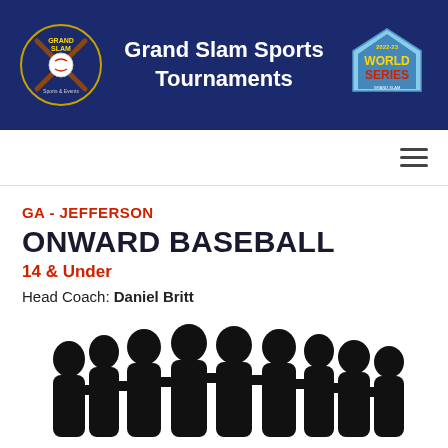[Figure (logo): Grand Slam Sports Tournaments header banner with Grand Slam logo on left, title text in center, World Series logo on right, all on dark navy background]
Grand Slam Sports Tournaments
GA - JEFFERSON
ONWARD BASEBALL
14 & Under
Head Coach: Daniel Britt
[Figure (illustration): Black silhouette of a group of baseball players standing together with arms around each other, viewed from behind]